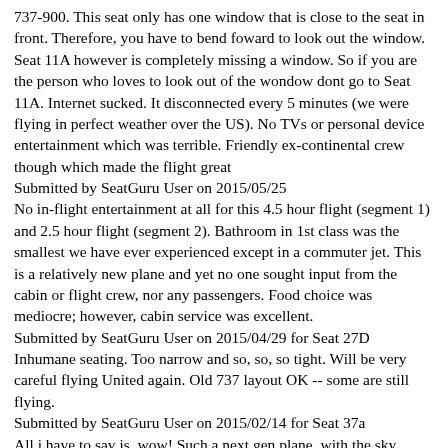737-900. This seat only has one window that is close to the seat in front. Therefore, you have to bend foward to look out the window. Seat 11A however is completely missing a window. So if you are the person who loves to look out of the wondow dont go to Seat 11A. Internet sucked. It disconnected every 5 minutes (we were flying in perfect weather over the US). No TVs or personal device entertainment which was terrible. Friendly ex-continental crew though which made the flight great
Submitted by SeatGuru User on 2015/05/25
No in-flight entertainment at all for this 4.5 hour flight (segment 1) and 2.5 hour flight (segment 2). Bathroom in 1st class was the smallest we have ever experienced except in a commuter jet. This is a relatively new plane and yet no one sought input from the cabin or flight crew, nor any passengers. Food choice was mediocre; however, cabin service was excellent.
Submitted by SeatGuru User on 2015/04/29 for Seat 27D
Inhumane seating. Too narrow and so, so, so tight. Will be very careful flying United again. Old 737 layout OK -- some are still flying.
Submitted by SeatGuru User on 2015/02/14 for Seat 37a
All i have to say is, wow! Such a next gen plane, with the sky interior lighting, it was awesome. The fact that there are no TVs shouldn't bother anyone since because they have their united wifi, you can watch free movies on your personal device. It does cost money to use wifi for more than movies, but I didn't need anything